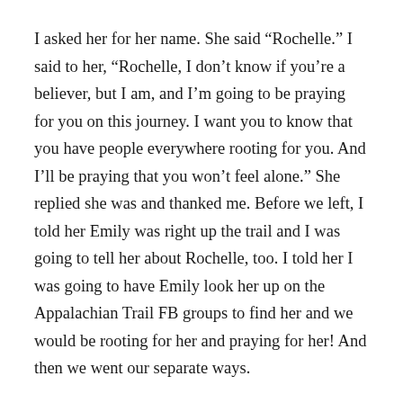I asked her for her name.  She said “Rochelle.”  I said to her, “Rochelle, I don’t know if you’re a believer, but I am, and I’m going to be praying for you on this journey.  I want you to know that you have people everywhere rooting for you.  And I’ll be praying that you won’t feel alone.”  She replied she was and thanked me.  Before we left, I told her Emily was right up the trail and I was going to tell her about Rochelle, too.  I told her I was going to have Emily look her up on the Appalachian Trail FB groups to find her and we would be rooting for her and praying for her!  And then we went our separate ways.